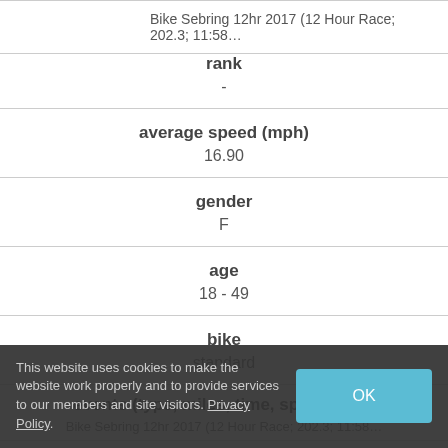Bike Sebring 12hr 2017 (12 Hour Race; 202.3; 11:58...
| field | value |
| --- | --- |
| rank | - |
| average speed (mph) | 16.90 |
| gender | F |
| age | 18 - 49 |
| bike | standard |
| events (type, miles, time, speed mph) | Bike Sebring 12hr 2017 (12 Hour Race; 202.3; 11:58... |
This website uses cookies to make the website work properly and to provide services to our members and site visitors. Privacy Policy.